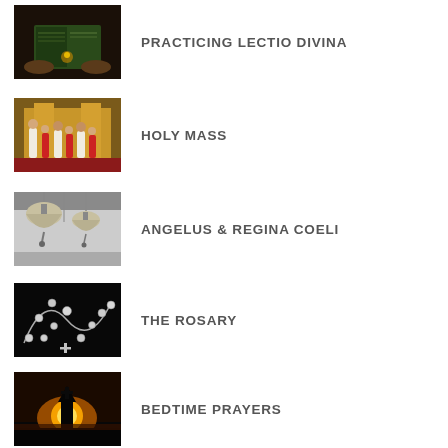[Figure (photo): Hands holding open book with candle light]
PRACTICING LECTIO DIVINA
[Figure (photo): Priests and altar servers at church altar during Holy Mass]
HOLY MASS
[Figure (photo): Church bells hanging from ceiling]
ANGELUS & REGINA COELI
[Figure (photo): Rosary beads on dark background]
THE ROSARY
[Figure (photo): Silhouette of church steeple against sunset sky]
BEDTIME PRAYERS